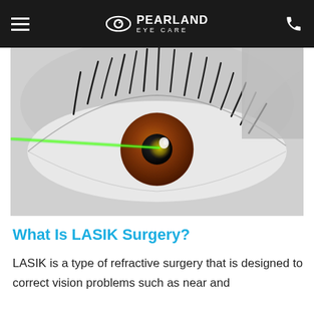Pearland Eye Care
[Figure (photo): Close-up macro photo of a human eye with brown iris, dramatic eyelashes in black and white, with a bright green laser beam aimed at the pupil/cornea area, simulating LASIK surgery.]
What Is LASIK Surgery?
LASIK is a type of refractive surgery that is designed to correct vision problems such as near and